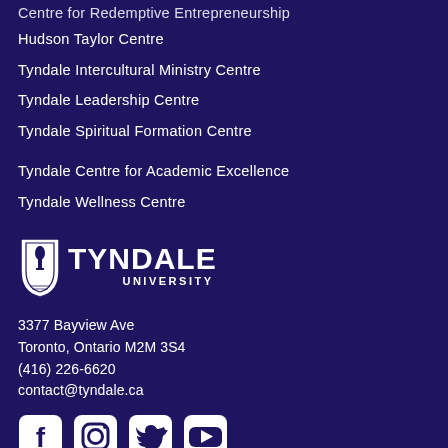Centre for Redemptive Entrepreneurship
Hudson Taylor Centre
Tyndale Intercultural Ministry Centre
Tyndale Leadership Centre
Tyndale Spiritual Formation Centre
Tyndale Centre for Academic Excellence
Tyndale Wellness Centre
[Figure (logo): Tyndale University logo: shield emblem with torch and text TYNDALE UNIVERSITY in white on dark blue background]
3377 Bayview Ave
Toronto, Ontario M2M 3S4
(416) 226-6620
contact@tyndale.ca
[Figure (infographic): Social media icons: Facebook, Instagram, Twitter, YouTube — all white on dark blue background]